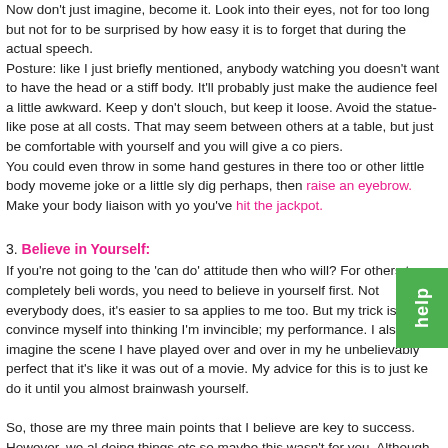Now don't just imagine, become it. Look into their eyes, not for too long but not for too short. You'll be surprised by how easy it is to forget that during the actual speech.
Posture: like I just briefly mentioned, anybody watching you doesn't want to have the image of a dropped head or a stiff body. It'll probably just make the audience feel a little awkward. Keep your back straight, don't slouch, but keep it loose. Avoid the statue-like pose at all costs. That may seem hard when standing between others at a table, but just be comfortable with yourself and you will give a confidence that makes others happier.
You could even throw in some hand gestures in there too or other little body movements. If you're making a joke or a little sly dig perhaps, then raise an eyebrow. Make your body liaison with your words and when that happens, you've hit the jackpot.
3. Believe in Yourself:
If you're not going to the 'can do' attitude then who will? For others to completely believe in your words, you need to believe in yourself first. Not everybody does, it's easier to say than to do and that applies to me too. But my trick is to convince myself into thinking I'm invincible; I keep talking myself up before my performance. I also imagine the scene I have played over and over in my head and it always goes unbelievably perfect that it's like it was out of a movie. My advice for this is to just keep repeating it and do it until you almost brainwash yourself.
So, those are my three main points that I believe are key to success. However, we all have different ways of doing things etc so maybe this wasn't for you. Although, these might be….
Speeches don't have to be formal or so serious. Many people slot in jokes into their speeches to lighten the mood and get a few laughs from the crowd. But, I have seen some speeches that are unfor